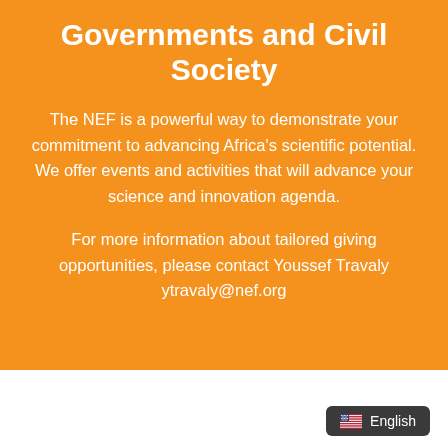Governments and Civil Society
The NEF is a powerful way to demonstrate your commitment to advancing Africa's scientific potential. We offer events and activities that will advance your science and innovation agenda.
For more information about tailored giving opportunities, please contact Youssef Travaly ytravaly@nef.org